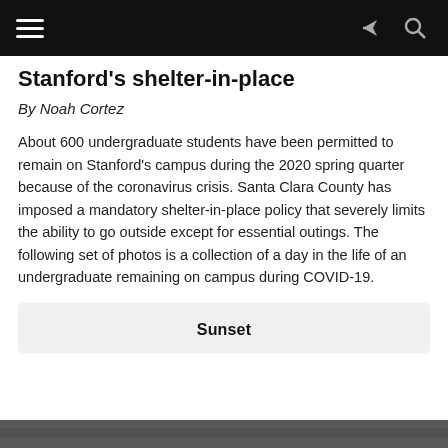[Navigation bar with hamburger menu, share icon, search icon]
Stanford's shelter-in-place
By Noah Cortez
About 600 undergraduate students have been permitted to remain on Stanford's campus during the 2020 spring quarter because of the coronavirus crisis. Santa Clara County has imposed a mandatory shelter-in-place policy that severely limits the ability to go outside except for essential outings. The following set of photos is a collection of a day in the life of an undergraduate remaining on campus during COVID-19.
Sunset
[Figure (photo): Bottom strip showing the edge of a photo of a person outdoors]